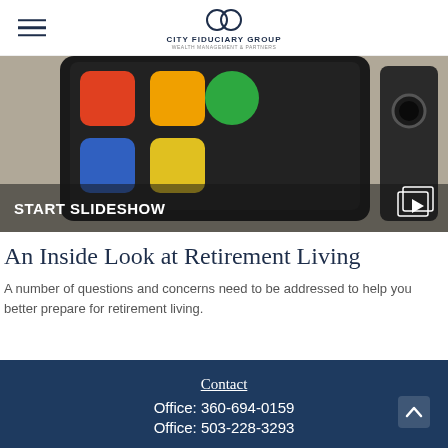City Fiduciary Group
[Figure (photo): Close-up of a tablet showing colorful app icons being held, with camera device visible on the right side. A semi-transparent dark overlay at the bottom shows 'START SLIDESHOW' text and a slideshow icon.]
An Inside Look at Retirement Living
A number of questions and concerns need to be addressed to help you better prepare for retirement living.
Contact
Office: 360-694-0159
Office: 503-228-3293